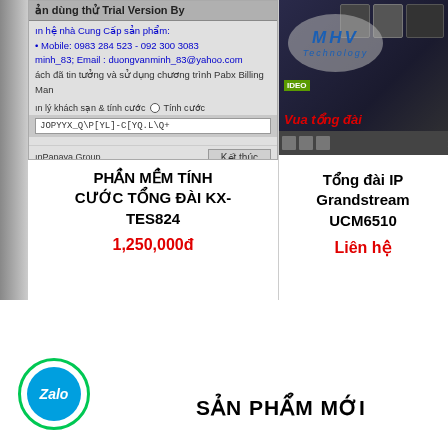[Figure (screenshot): Screenshot of a Trial Version software dialog showing contact info and billing software interface for PABX system]
[Figure (screenshot): MHV Technology product image showing IP phone/video conference equipment with overlaid branding text]
PHẦN MỀM TÍNH CƯỚC TỔNG ĐÀI KX-TES824
1,250,000đ
Tổng đài IP Grandstream UCM6510
Liên hệ
[Figure (logo): Zalo app icon/logo — circular green border with blue circle containing Zalo text]
SẢN PHẨM MỚI